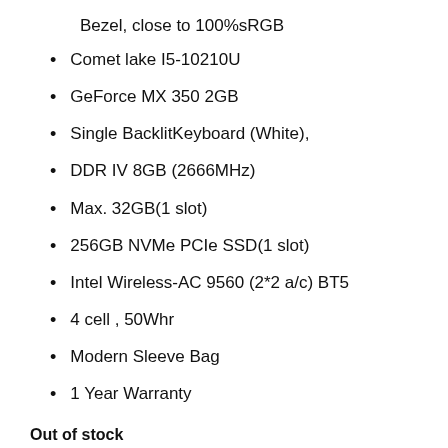Bezel, close to 100%sRGB
Comet lake I5-10210U
GeForce MX 350 2GB
Single BacklitKeyboard (White),
DDR IV 8GB (2666MHz)
Max. 32GB(1 slot)
256GB NVMe PCIe SSD(1 slot)
Intel Wireless-AC 9560 (2*2 a/c) BT5
4 cell , 50Whr
Modern Sleeve Bag
1 Year Warranty
Out of stock
Add to Wishlist